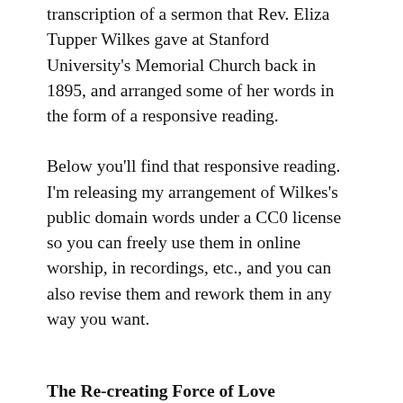transcription of a sermon that Rev. Eliza Tupper Wilkes gave at Stanford University's Memorial Church back in 1895, and arranged some of her words in the form of a responsive reading.
Below you'll find that responsive reading. I'm releasing my arrangement of Wilkes's public domain words under a CC0 license so you can freely use them in online worship, in recordings, etc., and you can also revise them and rework them in any way you want.
The Re-creating Force of Love
Life has in it a re-creating force. This force